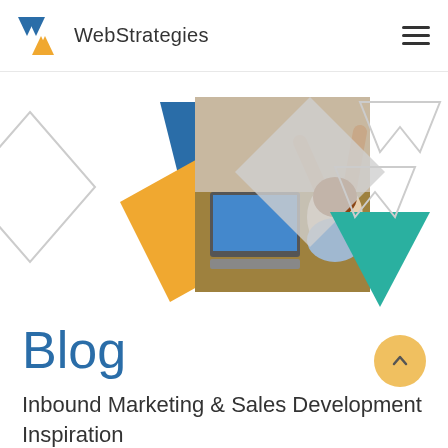[Figure (logo): WebStrategies logo with a blue and gold W chevron icon followed by the text WebStrategies in dark gray sans-serif font]
[Figure (illustration): Decorative header graphic composed of overlapping geometric diamond/chevron shapes in blue, gold/yellow, gray, teal, and white outline, with a central photo of a person viewed from above with arms raised at a desk with a laptop]
Blog
Inbound Marketing & Sales Development Inspiration